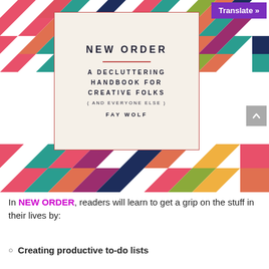[Figure (illustration): Book cover of 'New Order: A Decluttering Handbook for Creative Folks (and Everyone Else)' by Fay Wolf. Colorful chevron/zigzag pattern background in pink, teal, coral, navy, olive, and other colors. Central white/cream box with red border containing the book title and author name.]
In NEW ORDER, readers will learn to get a grip on the stuff in their lives by:
Creating productive to-do lists